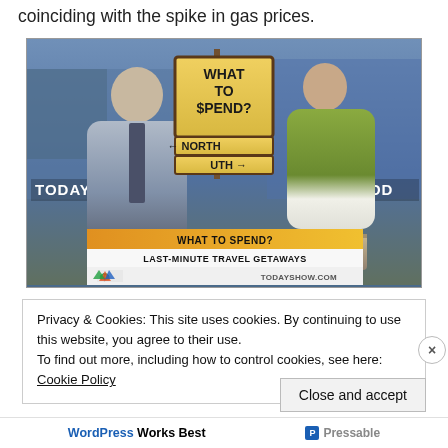coinciding with the spike in gas prices.
[Figure (photo): Screenshot from the NBC Today Show. Two people sitting and talking in a TV studio. A road sign prop in the center reads 'WHAT TO $PEND?' with arrows pointing NORTH and SOUTH. TODAY branding visible on the left and right. Lower-third chyron reads 'WHAT TO SPEND? / LAST-MINUTE TRAVEL GETAWAYS' with NBC peacock logo and TODAYSHOW.COM URL.]
Privacy & Cookies: This site uses cookies. By continuing to use this website, you agree to their use.
To find out more, including how to control cookies, see here: Cookie Policy
Close and accept
WordPress Works Best  Pressable